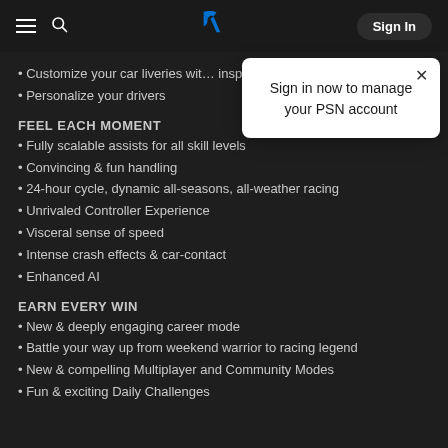PlayStation navigation bar with hamburger menu, search, PlayStation logo, and Sign In button
Sign in now to manage your PSN account
Customize your car liveries with inspired elements
Personalize your drivers
FEEL EACH MOMENT
Fully scalable assists for all skill levels
Convincing & fun handling
24-hour cycle, dynamic all-seasons, all-weather racing
Unrivaled Controller Experience
Visceral sense of speed
Intense crash effects & car-contact
Enhanced AI
EARN EVERY WIN
New & deeply engaging career mode
Battle your way up from weekend warrior to racing legend
New & compelling Multiplayer and Community Modes
Fun & exciting Daily Challenges